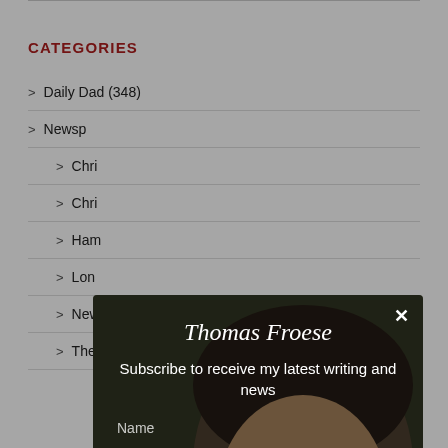CATEGORIES
> Daily Dad (348)
> Newspaper columns
> Chri…
> Chri…
> Ham…
> Lon…
> New…
> The…
[Figure (photo): Modal popup with photo of Thomas Froese (man with glasses and beard), containing subscription form with Name and Email fields and a Subscribe button, plus close X button]
Thomas Froese
Subscribe to receive my latest writing and news